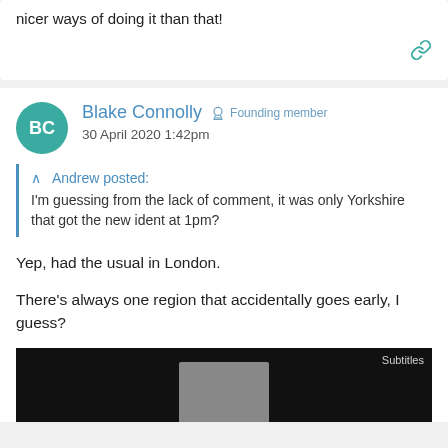nicer ways of doing it than that!
Blake Connolly · Founding member
30 April 2020 1:42pm
Andrew posted: I'm guessing from the lack of comment, it was only Yorkshire that got the new ident at 1pm?
Yep, had the usual in London.
There's always one region that accidentally goes early, I guess?
[Figure (screenshot): Video player showing dark background with 'Subtitles' label and a partial thumbnail at the bottom.]